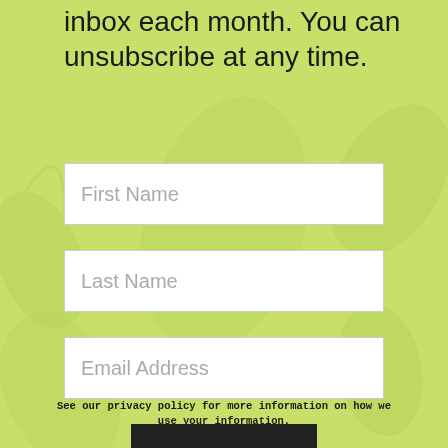inbox each month. You can unsubscribe at any time.
[Figure (other): White input field with placeholder text 'First Name' on green background]
[Figure (other): White input field with placeholder text 'Last Name' on green background]
[Figure (other): White input field with placeholder text 'Email Address' on green background]
[Figure (other): Black 'Sign Up' button]
See our privacy policy for more information on how we use your information.